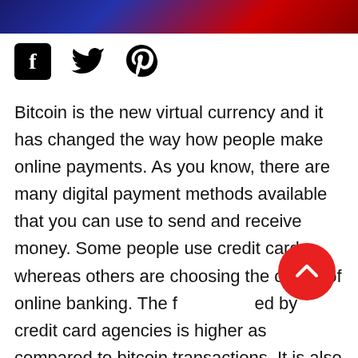[Figure (photo): Decorative header image with blue and red tones]
[Figure (infographic): Social media share icons: Facebook (square logo), Twitter (bird logo), Pinterest (P logo)]
Bitcoin is the new virtual currency and it has changed the way how people make online payments. As you know, there are many digital payment methods available that you can use to send and receive money. Some people use credit cards whereas others are choosing the option of online banking. The f[ees charg]ed by credit card agencies is higher as compared to bitcoin transactions. It is also one of the reasons why most people are using bitcoins over other digital